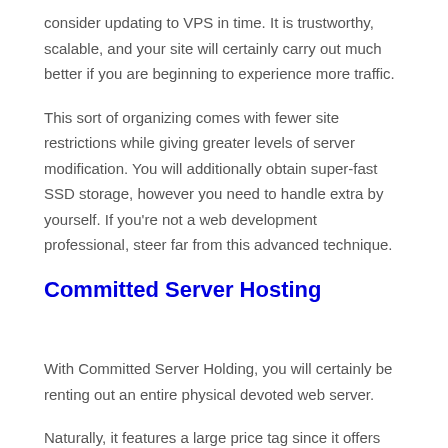consider updating to VPS in time. It is trustworthy, scalable, and your site will certainly carry out much better if you are beginning to experience more traffic.
This sort of organizing comes with fewer site restrictions while giving greater levels of server modification. You will additionally obtain super-fast SSD storage, however you need to handle extra by yourself. If you're not a web development professional, steer far from this advanced technique.
Committed Server Hosting
With Committed Server Holding, you will certainly be renting out an entire physical devoted web server.
Naturally, it features a large price tag since it offers you the single